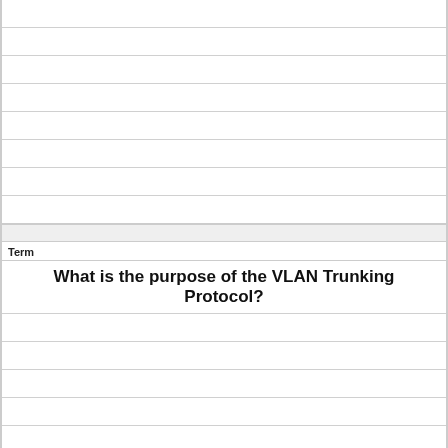Term
What is the purpose of the VLAN Trunking Protocol?
Definition
Maintaining consistency in VLAN configuration across the network.